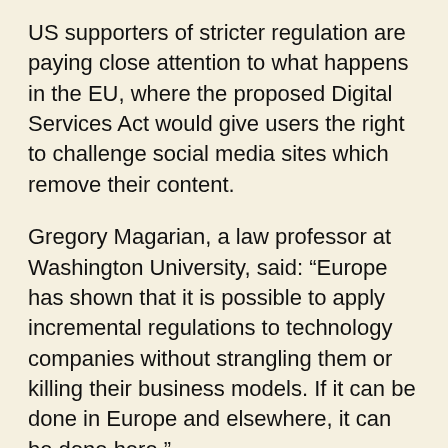US supporters of stricter regulation are paying close attention to what happens in the EU, where the proposed Digital Services Act would give users the right to challenge social media sites which remove their content.
Gregory Magarian, a law professor at Washington University, said: “Europe has shown that it is possible to apply incremental regulations to technology companies without strangling them or killing their business models. If it can be done in Europe and elsewhere, it can be done here.”
Joseph Belbruno
Share